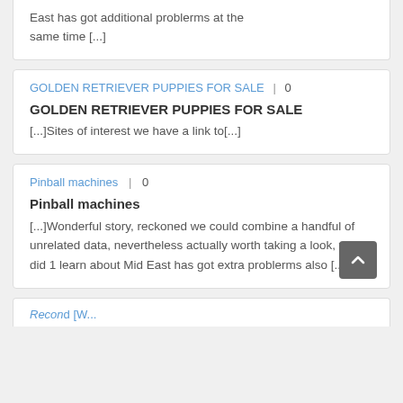East has got additional problerms at the same time [...]
GOLDEN RETRIEVER PUPPIES FOR SALE | 0
GOLDEN RETRIEVER PUPPIES FOR SALE
[...]Sites of interest we have a link to[...]
Pinball machines | 0
Pinball machines
[...]Wonderful story, reckoned we could combine a handful of unrelated data, nevertheless actually worth taking a look, whoa did 1 learn about Mid East has got extra problerms also [...]